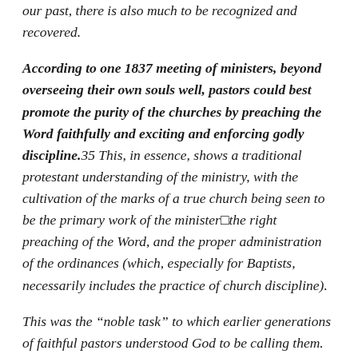our past, there is also much to be recognized and recovered.
According to one 1837 meeting of ministers, beyond overseeing their own souls well, pastors could best promote the purity of the churches by preaching the Word faithfully and exciting and enforcing godly discipline.35 This, in essence, shows a traditional protestant understanding of the ministry, with the cultivation of the marks of a true church being seen to be the primary work of the minister—the right preaching of the Word, and the proper administration of the ordinances (which, especially for Baptists, necessarily includes the practice of church discipline).
This was the “noble task” to which earlier generations of faithful pastors understood God to be calling them.